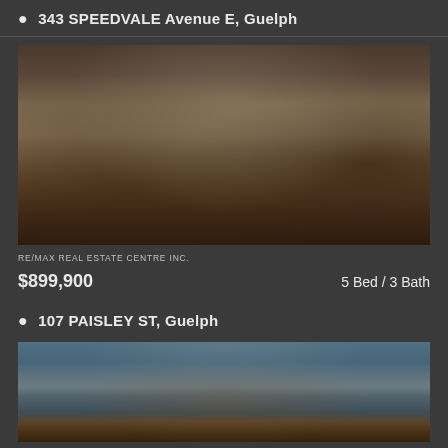343 SPEEDVALE Avenue E, Guelph
[Figure (photo): Interior photo of a living room with sofa, coffee table, lamp, and fireplace]
RE/MAX REAL ESTATE CENTRE INC.
$899,900
5 Bed / 3 Bath
107 PAISLEY ST, Guelph
[Figure (photo): Exterior photo of a house with blue sky background]